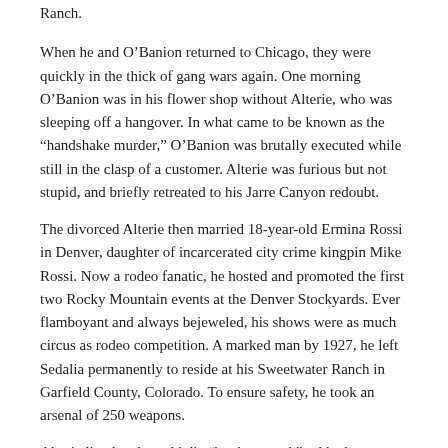Ranch.
When he and O’Banion returned to Chicago, they were quickly in the thick of gang wars again. One morning O’Banion was in his flower shop without Alterie, who was sleeping off a hangover. In what came to be known as the “handshake murder,” O’Banion was brutally executed while still in the clasp of a customer. Alterie was furious but not stupid, and briefly retreated to his Jarre Canyon redoubt.
The divorced Alterie then married 18-year-old Ermina Rossi in Denver, daughter of incarcerated city crime kingpin Mike Rossi. Now a rodeo fanatic, he hosted and promoted the first two Rocky Mountain events at the Denver Stockyards. Ever flamboyant and always bejeweled, his shows were as much circus as rodeo competition. A marked man by 1927, he left Sedalia permanently to reside at his Sweetwater Ranch in Garfield County, Colorado. To ensure safety, he took an arsenal of 250 weapons.
Alterie lived and would die “by the sword,” rubbed out eventually by contract killers in 1935 Chicago. Ironically, the killers used a sniper technique developed earlier by Alterie himself.
Share this post: